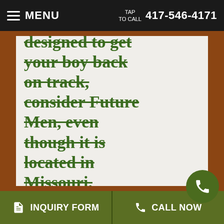MENU  TAP TO CALL  417-546-4171
designed to get your boy back on track, consider Future Men, even though it is located in Missouri.
Therapeutic boys homes in Sterling Heights, Michigan are often the best
INQUIRY FORM   CALL NOW